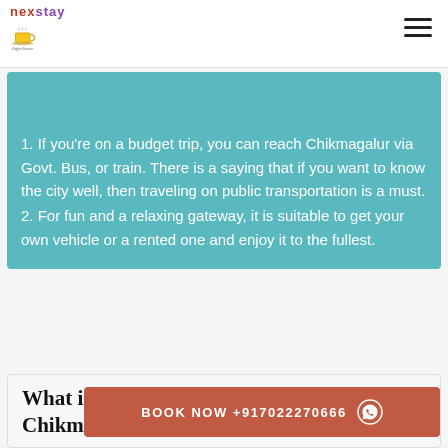nexstay Coffee Sacem Resort
1. If you're on a budget trip, you can reach Chikmagalur via Govt. Bus, or train. There is a saying that if you want to know the city well, then traveling on public transportation is a must.
2. For fun and a relaxing gateway, it is suitable to get your own vehicle or a rented one and enjoy it to the fullest.
What is the best time to visit Chikmagalur?
BOOK NOW +917022270666